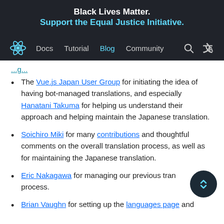Black Lives Matter.
Support the Equal Justice Initiative.
Docs  Tutorial  Blog  Community
The Vue.js Japan User Group for initiating the idea of having bot-managed translations, and especially Hanatani Takuma for helping us understand their approach and helping maintain the Japanese translation.
Soichiro Miki for many contributions and thoughtful comments on the overall translation process, as well as for maintaining the Japanese translation.
Eric Nakagawa for managing our previous translation process.
Brian Vaughn for setting up the languages page and